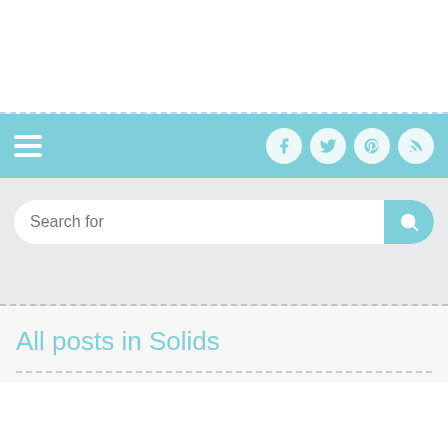[Figure (screenshot): Website UI screenshot showing a top white header area, a teal/cyan navigation bar with hamburger menu and social icons (Facebook, Twitter, Pinterest, RSS), a light grey search bar area with a 'Search for' input and teal search button, and a white content area with 'All posts in Solids' title and a dashed divider.]
All posts in Solids